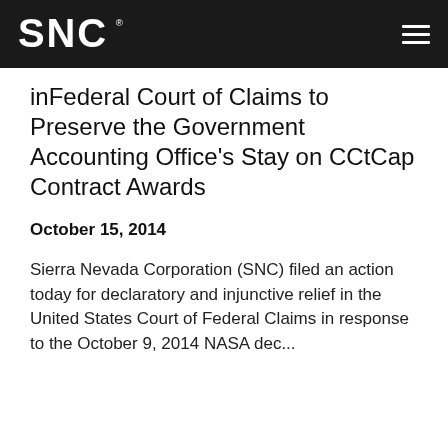SNC
inFederal Court of Claims to Preserve the Government Accounting Office's Stay on CCtCap Contract Awards
October 15, 2014
Sierra Nevada Corporation (SNC) filed an action today for declaratory and injunctive relief in the United States Court of Federal Claims in response to the October 9, 2014 NASA dec...